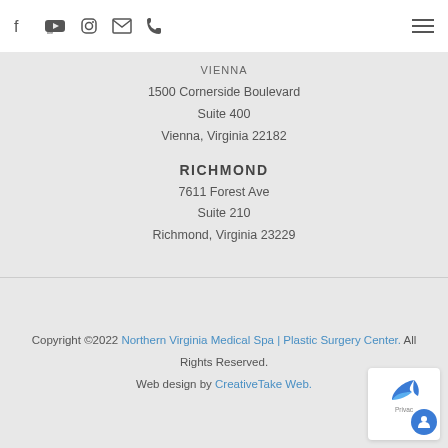Social media icons and hamburger menu
VIENNA
1500 Cornerside Boulevard
Suite 400
Vienna, Virginia 22182
RICHMOND
7611 Forest Ave
Suite 210
Richmond, Virginia 23229
Copyright ©2022 Northern Virginia Medical Spa | Plastic Surgery Center. All Rights Reserved. Web design by CreativeTake Web.